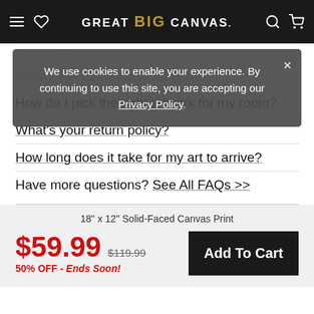GREAT BIG CANVAS
We use cookies to enable your experience. By continuing to use this site, you are accepting our Privacy Policy.
Frequent Questions
What's the best way to hang this?
How do I pick the right artwork for my room?
What's your return policy?
How long does it take for my art to arrive?
Have more questions? See All FAQs >>
18" x 12" Solid-Faced Canvas Print
$59.99  $119.99  50% OFF - Ends Soon!
Add To Cart